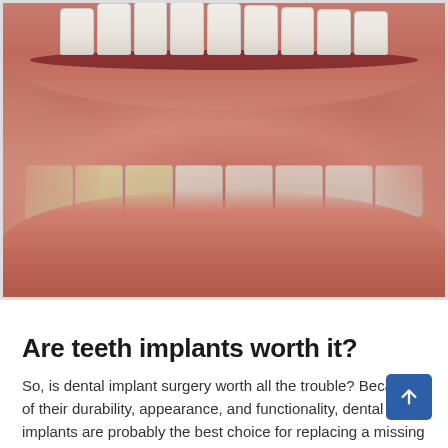[Figure (photo): Close-up photograph of a person's mouth showing teeth — upper and lower rows visible with lips parted in a smile. Some teeth appear yellowed or misaligned on the lower left. The image shows dental/oral context relevant to dental implants.]
Are teeth implants worth it?
So, is dental implant surgery worth all the trouble? Because of their durability, appearance, and functionality, dental implants are probably the best choice for replacing missing